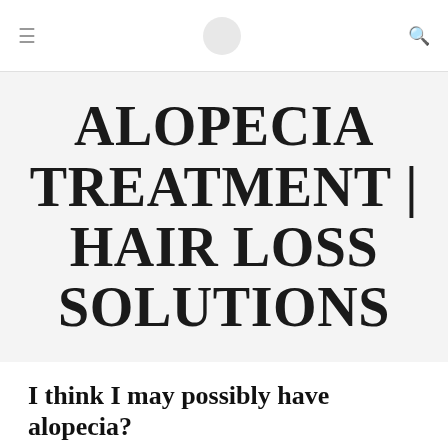≡  [circle]  🔍
ALOPECIA TREATMENT | HAIR LOSS SOLUTIONS
I think I may possibly have alopecia?
ALOPECIA TREATMENT  /  MARCH 17, 2014
Question by Tells It How It Is: I think I may have alopecia?